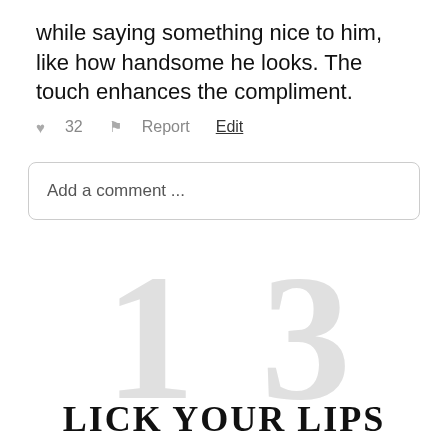while saying something nice to him, like how handsome he looks. The touch enhances the compliment.
♥ 32   ⚑ Report   Edit
Add a comment ...
13
LICK YOUR LIPS